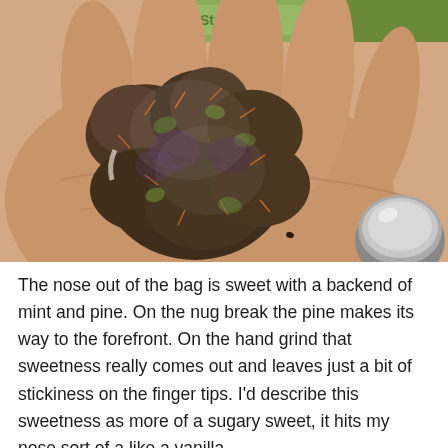[Figure (photo): A hand holding several dark purple-green cannabis buds against a light background with a green package visible at the top and a metallic object at the bottom right.]
The nose out of the bag is sweet with a backend of mint and pine. On the nug break the pine makes its way to the forefront. On the hand grind that sweetness really comes out and leaves just a bit of stickiness on the finger tips. I'd describe this sweetness as more of a sugary sweet, it hits my nose sort of a like a vanilla